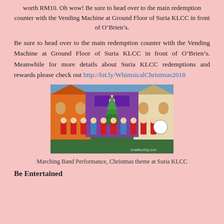worth RM10. Oh wow! Be sure to head over to the main redemption counter with the Vending Machine at Ground Floor of Suria KLCC in front of O’Brien’s.
Be sure to head over to the main redemption counter with the Vending Machine at Ground Floor of Suria KLCC in front of O’Brien’s. Meanwhile for more details about Suria KLCC redemptions and rewards please check out http://bit.ly/WhimsicalChristmas2018
[Figure (photo): Marching Band Performance with Christmas theme at Suria KLCC, performers in red uniforms in front of colorful Christmas decorations and a Christmas tree]
Marching Band Performance, Christmas theme at Suria KLCC
Be Entertained